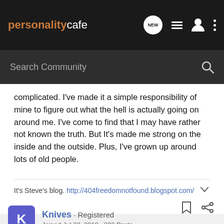personalitycafe — NEW [icons]
Search Community
complicated. I've made it a simple responsibility of mine to figure out what the hell is actually going on around me. I've come to find that I may have rather not known the truth. But It's made me strong on the inside and the outside. Plus, I've grown up around lots of old people.
It's Steve's blog. http://404freedomnotfound.blogspot.com/
Knives · Registered
Joined Jul 22, 2010 · 232 Posts